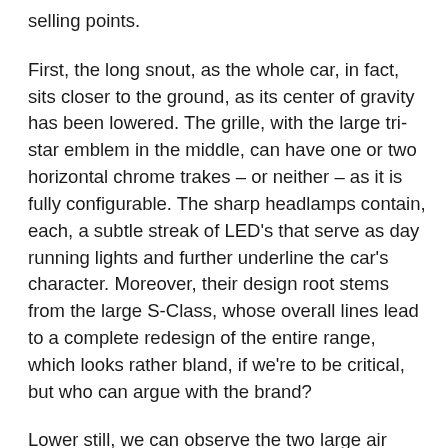selling points.
First, the long snout, as the whole car, in fact, sits closer to the ground, as its center of gravity has been lowered. The grille, with the large tri-star emblem in the middle, can have one or two horizontal chrome trakes – or neither – as it is fully configurable. The sharp headlamps contain, each, a subtle streak of LED's that serve as day running lights and further underline the car's character. Moreover, their design root stems from the large S-Class, whose overall lines lead to a complete redesign of the entire range, which looks rather bland, if we're to be critical, but who can argue with the brand?
Lower still, we can observe the two large air intakes that flank the central gape that houses the radiator. The vents are purely cosmetic on some version,